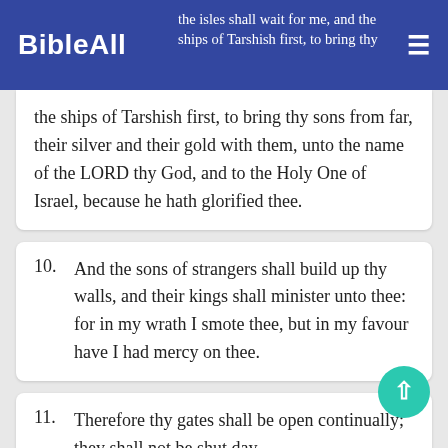BibleAll
the isles shall wait for me, and the ships of Tarshish first, to bring thy sons from far, their silver and their gold with them, unto the name of the LORD thy God, and to the Holy One of Israel, because he hath glorified thee.
10. And the sons of strangers shall build up thy walls, and their kings shall minister unto thee: for in my wrath I smote thee, but in my favour have I had mercy on thee.
11. Therefore thy gates shall be open continually; they shall not be shut day